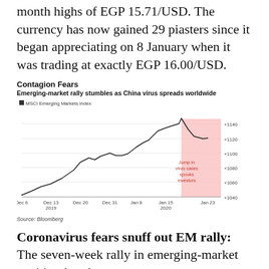month highs of EGP 15.71/USD. The currency has now gained 29 piasters since it began appreciating on 8 January when it was trading at exactly EGP 16.00/USD.
[Figure (line-chart): Line chart showing MSCI Emerging Markets Index rising from ~1042 in early Dec 2019 to ~1148 in late Jan 2020, then dropping sharply in a pink shaded region labeled 'Jump in virus cases spooks investors']
Source: Bloomberg
Coronavirus fears snuff out EM rally: The seven-week rally in emerging-market equities, bonds